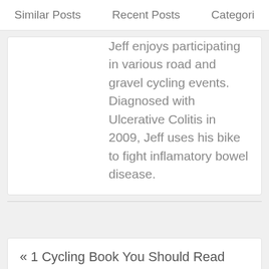Similar Posts   Recent Posts   Categori
Jeff enjoys participating in various road and gravel cycling events. Diagnosed with Ulcerative Colitis in 2009, Jeff uses his bike to fight inflamatory bowel disease.
« 1 Cycling Book You Should Read